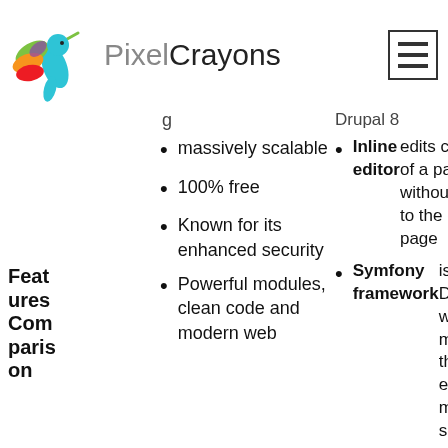[Figure (logo): PixelCrayons logo with colorful hummingbird and company name]
massively scalable
100% free
Known for its enhanced security
Powerful modules, clean code and modern web
Features Comparison
Drupal 8 (partial, cut off at top)
Inline editor edits content of a page without going to the edit page
Symfony framework is used in Drupal 8 which makes the code easy to maintain, scale, and reuse.
CkEditor for editing web pages
New picture module to automatically resize the image